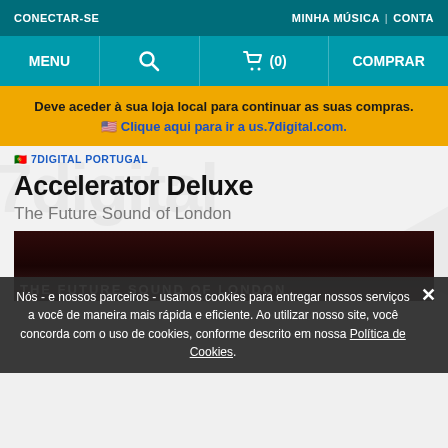CONECTAR-SE | MINHA MÚSICA | CONTA
MENU | (search) | (0) | COMPRAR
Deve aceder à sua loja local para continuar as suas compras. 🇺🇸 Clique aqui para ir a us.7digital.com.
🇵🇹 7DIGITAL PORTUGAL
Accelerator Deluxe
The Future Sound of London
[Figure (photo): Album art for Accelerator Deluxe showing dark red/maroon background with white text reading THE FUTURE SOUND OF LONDON]
Nós - e nossos parceiros - usamos cookies para entregar nossos serviços a você de maneira mais rápida e eficiente. Ao utilizar nosso site, você concorda com o uso de cookies, conforme descrito em nossa Política de Cookies.